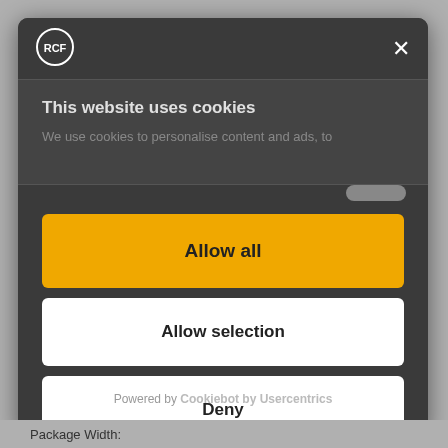[Figure (screenshot): RCF logo — circular badge with letters RCF inside a white circle on dark background]
×
This website uses cookies
We use cookies to personalise content and ads, to
Allow all
Allow selection
Deny
Powered by Cookiebot by Usercentrics
Package Width: